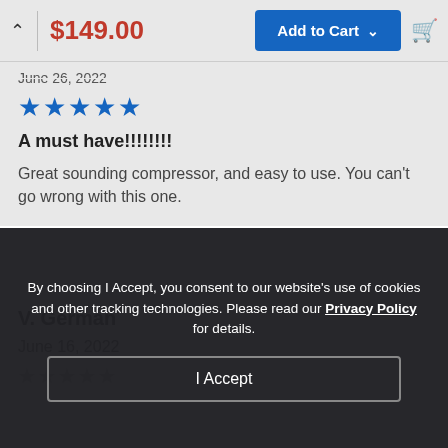$149.00  Add to Cart
June 26, 2022
[Figure (other): 5 blue star rating icons]
A must have!!!!!!!!!
Great sounding compressor, and easy to use. You can't go wrong with this one.
V. German
June 16, 2022
By choosing I Accept, you consent to our website's use of cookies and other tracking technologies. Please read our Privacy Policy for details.
I Accept